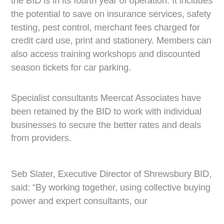the BID is in its fourth year of operation. It includes the potential to save on insurance services, safety testing, pest control, merchant fees charged for credit card use, print and stationery. Members can also access training workshops and discounted season tickets for car parking.
Specialist consultants Meercat Associates have been retained by the BID to work with individual businesses to secure the better rates and deals from providers.
Seb Slater, Executive Director of Shrewsbury BID, said: “By working together, using collective buying power and expert consultants, our